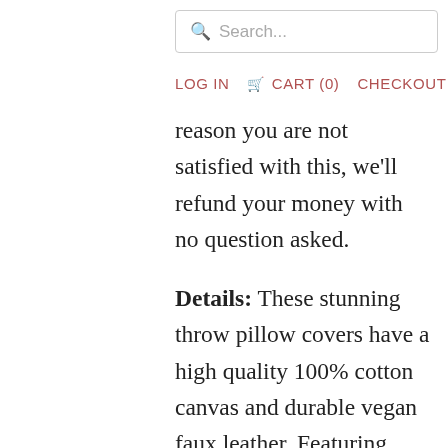Search...
LOG IN  CART (0)  CHECKOUT
reason you are not satisfied with this, we'll refund your money with no question asked.
Details: These stunning throw pillow covers have a high quality 100% cotton canvas and durable vegan faux leather. Featuring leather-and-canvas-sewed modern design, these are sure to update any room of your home. Item: Set of 2 Faux Leather and 100% Cotton Throw Pillow Covers  Color: White (natural-